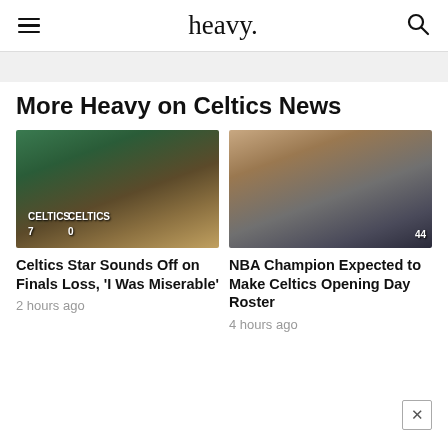heavy.
More Heavy on Celtics News
[Figure (photo): Two Boston Celtics players (numbers 7 and 0) standing on court in white uniforms in front of the Celtics logo]
Celtics Star Sounds Off on Finals Loss, 'I Was Miserable'
2 hours ago
[Figure (photo): NBA player wearing headband going up for a layup while being guarded by a player in an orange uniform, player wearing number 44]
NBA Champion Expected to Make Celtics Opening Day Roster
4 hours ago